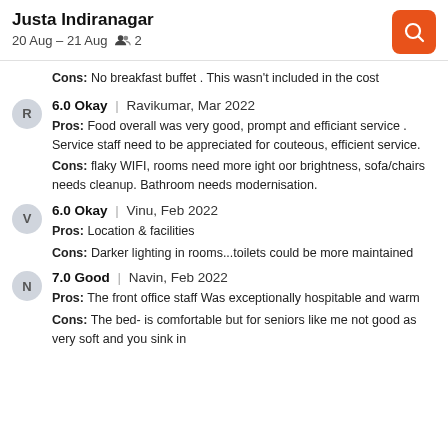Justa Indiranagar — 20 Aug – 21 Aug, 2 guests
Cons: No breakfast buffet . This wasn't included in the cost
6.0 Okay | Ravikumar, Mar 2022 — Pros: Food overall was very good, prompt and efficiant service . Service staff need to be appreciated for couteous, efficient service. Cons: flaky WIFI, rooms need more ight oor brightness, sofa/chairs needs cleanup. Bathroom needs modernisation.
6.0 Okay | Vinu, Feb 2022 — Pros: Location & facilities. Cons: Darker lighting in rooms...toilets could be more maintained
7.0 Good | Navin, Feb 2022 — Pros: The front office staff Was exceptionally hospitable and warm. Cons: The bed- is comfortable but for seniors like me not good as very soft and you sink in